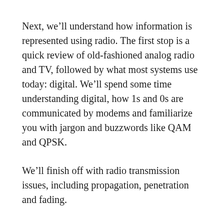Next, we'll understand how information is represented using radio. The first stop is a quick review of old-fashioned analog radio and TV, followed by what most systems use today: digital. We'll spend some time understanding digital, how 1s and 0s are communicated by modems and familiarize you with jargon and buzzwords like QAM and QPSK.
We'll finish off with radio transmission issues, including propagation, penetration and fading.
Course Lessons
1. Radio Fundamentals
2. Wireless Spectrum and Radio Bands